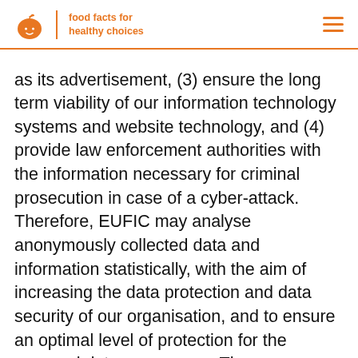eufic — food facts for healthy choices
as its advertisement, (3) ensure the long term viability of our information technology systems and website technology, and (4) provide law enforcement authorities with the information necessary for criminal prosecution in case of a cyber-attack. Therefore, EUFIC may analyse anonymously collected data and information statistically, with the aim of increasing the data protection and data security of our organisation, and to ensure an optimal level of protection for the personal data we process. The anonymous data of the server log files are stored separately from all personal data provided by a data subject